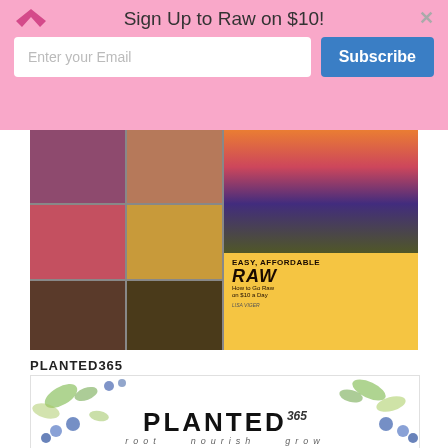Sign Up to Raw on $10!
Enter your Email
Subscribe
[Figure (photo): Collage of raw food dish photos surrounding a book cover titled 'EASY, AFFORDABLE RAW: How to Go Raw on $10 a Day' by Lisa Viger]
PLANTED365
[Figure (logo): PLANTED365 brand logo with watercolor botanical berry and leaf illustrations. Large bold text reads PLANTED with 365 in italic. Tagline: root nourish grow]